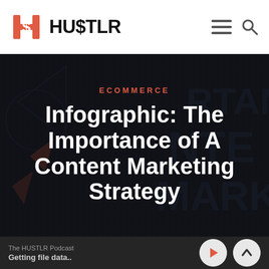HU$TLR
ECOMMERCE
Infographic: The Importance of A Content Marketing Strategy
The HUSTLR Podcast
Getting file data..